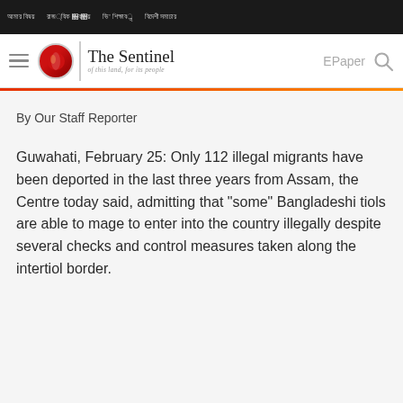Nav bar with menu items in regional script
The Sentinel — of this land, for its people | EPaper
By Our Staff Reporter
Guwahati, February 25: Only 112 illegal migrants have been deported in the last three years from Assam, the Centre today said, admitting that "some" Bangladeshi tiols are able to mage to enter into the country illegally despite several checks and control measures taken along the intertiol border.